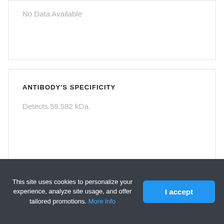No Data Available
ANTIBODY'S SPECIFICITY
Detects 59.582 kDa.
ANTIBODY'S CATEGORY
Polyclonal Antibodies
This site uses cookies to personalize your experience, analyze site usage, and offer tailored promotions. More info